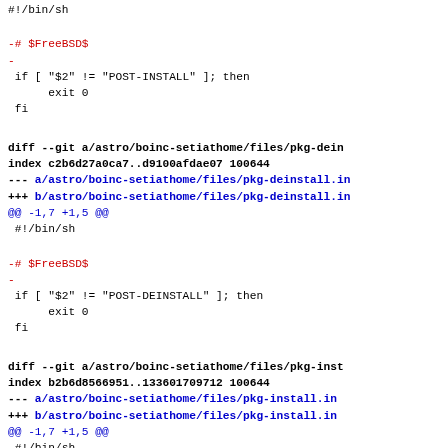#!/bin/sh
-# $FreeBSD$
-
 if [ "$2" != "POST-INSTALL" ]; then
      exit 0
 fi
diff --git a/astro/boinc-setiathome/files/pkg-deinstall.in
index c2b6d27a0ca7..d9100afdae07 100644
--- a/astro/boinc-setiathome/files/pkg-deinstall.in
+++ b/astro/boinc-setiathome/files/pkg-deinstall.in
@@ -1,7 +1,5 @@
 #!/bin/sh
-# $FreeBSD$
-
 if [ "$2" != "POST-DEINSTALL" ]; then
      exit 0
 fi
diff --git a/astro/boinc-setiathome/files/pkg-install.in
index b2b6d8566951..133601709712 100644
--- a/astro/boinc-setiathome/files/pkg-install.in
+++ b/astro/boinc-setiathome/files/pkg-install.in
@@ -1,7 +1,5 @@
 #!/bin/sh
-# $FreeBSD$
-
 if [ "$2" != "POST-INSTALL" ]; then